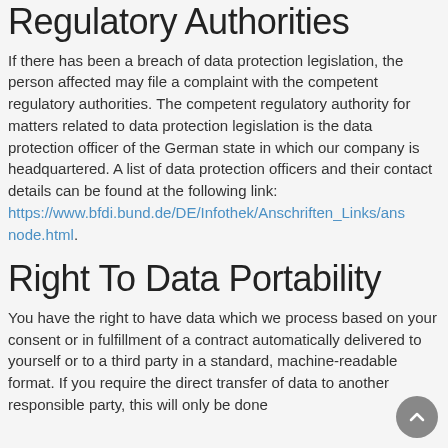Regulatory Authorities
If there has been a breach of data protection legislation, the person affected may file a complaint with the competent regulatory authorities. The competent regulatory authority for matters related to data protection legislation is the data protection officer of the German state in which our company is headquartered. A list of data protection officers and their contact details can be found at the following link: https://www.bfdi.bund.de/DE/Infothek/Anschriften_Links/anschriften_links-node.html.
Right To Data Portability
You have the right to have data which we process based on your consent or in fulfillment of a contract automatically delivered to yourself or to a third party in a standard, machine-readable format. If you require the direct transfer of data to another responsible party, this will only be done to the extent technically feasible.